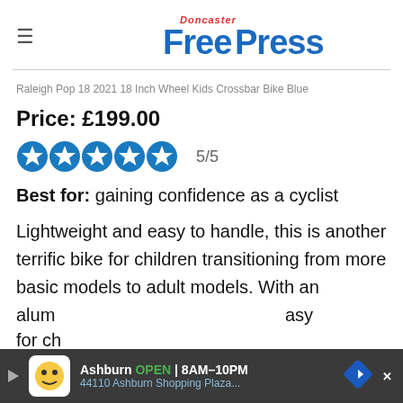Doncaster Free Press
Raleigh Pop 18 2021 18 Inch Wheel Kids Crossbar Bike Blue
Price: £199.00
[Figure (infographic): 5 filled blue circle star rating icons followed by text '5/5']
Best for: gaining confidence as a cyclist
Lightweight and easy to handle, this is another terrific bike for children transitioning from more basic models to adult models. With an alum... easy for ch...
[Figure (infographic): Advertisement banner: Ashburn OPEN 8AM-10PM, 44110 Ashburn Shopping Plaza...]